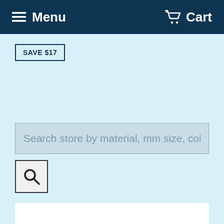Menu  Cart
SAVE $17
Search store by material, mm size, col
[Figure (screenshot): Search button with magnifying glass icon]
[Figure (screenshot): White content box area below search]